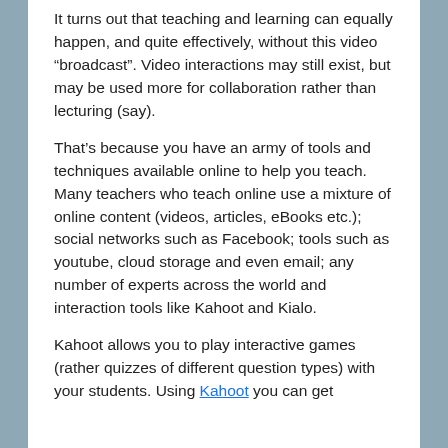It turns out that teaching and learning can equally happen, and quite effectively, without this video “broadcast”. Video interactions may still exist, but may be used more for collaboration rather than lecturing (say).
That’s because you have an army of tools and techniques available online to help you teach. Many teachers who teach online use a mixture of online content (videos, articles, eBooks etc.); social networks such as Facebook; tools such as youtube, cloud storage and even email; any number of experts across the world and interaction tools like Kahoot and Kialo.
Kahoot allows you to play interactive games (rather quizzes of different question types) with your students. Using Kahoot you can get